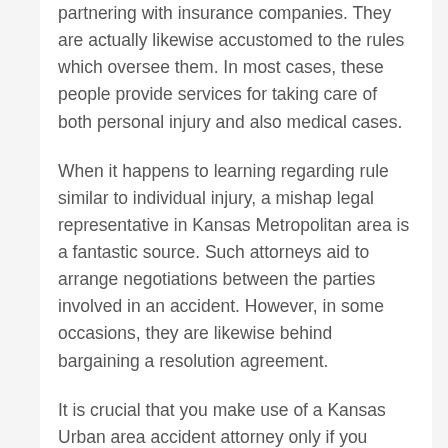partnering with insurance companies. They are actually likewise accustomed to the rules which oversee them. In most cases, these people provide services for taking care of both personal injury and also medical cases.
When it happens to learning regarding rule similar to individual injury, a mishap legal representative in Kansas Metropolitan area is a fantastic source. Such attorneys aid to arrange negotiations between the parties involved in an accident. However, in some occasions, they are likewise behind bargaining a resolution agreement.
It is crucial that you make use of a Kansas Urban area accident attorney only if you believe that you have a case against an individual. Or else, you should certainly not squander your time trying to go to court of law. As an alternative, you ought to choose a legal representative